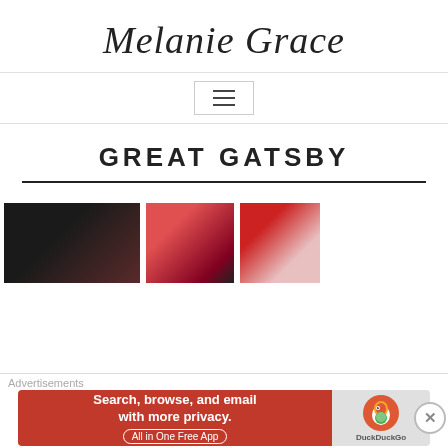Melanie Grace
[Figure (other): Hamburger menu icon / navigation toggle button]
GREAT GATSBY
[Figure (photo): Three thumbnail images showing book/movie related content for Great Gatsby]
Advertisements
[Figure (other): DuckDuckGo advertisement banner: Search, browse, and email with more privacy. All in One Free App]